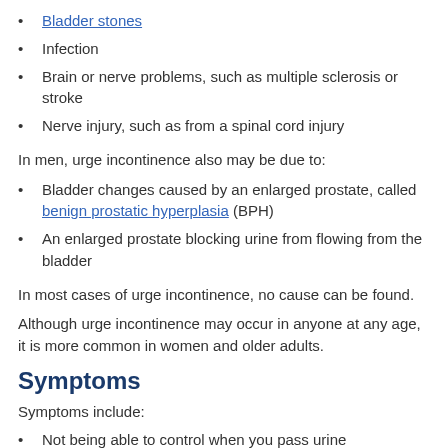Bladder stones
Infection
Brain or nerve problems, such as multiple sclerosis or stroke
Nerve injury, such as from a spinal cord injury
In men, urge incontinence also may be due to:
Bladder changes caused by an enlarged prostate, called benign prostatic hyperplasia (BPH)
An enlarged prostate blocking urine from flowing from the bladder
In most cases of urge incontinence, no cause can be found.
Although urge incontinence may occur in anyone at any age, it is more common in women and older adults.
Symptoms
Symptoms include:
Not being able to control when you pass urine
Having to urinate often during the day and night